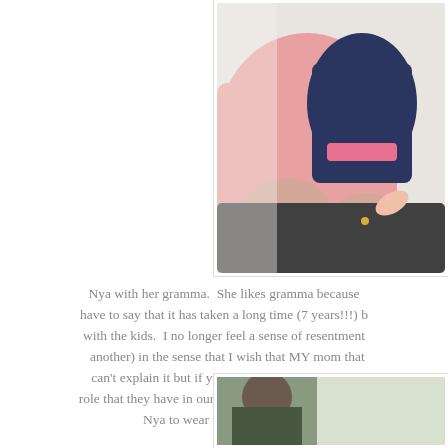[Figure (photo): A woman in a pink sweater holding a baby/toddler dressed in navy blue and pink, photographed from the torso down.]
Nya with her gramma.  She likes gramma because have to say that it has taken a long time (7 years!!!) with the kids.  I no longer feel a sense of resentment another) in the sense that I wish that MY mom that can't explain it but if you've been there, you know. role that they have in our lives.  They love our kids. Nya to wear when I was dress
[Figure (photo): Partial photo at the bottom right, appears to show a person partially visible.]